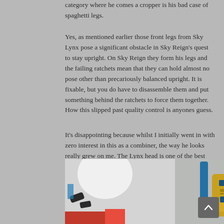category where he comes a cropper is his bad case of spaghetti legs.
Yes, as mentioned earlier those front legs from Sky Lynx pose a significant obstacle in Sky Reign's quest to stay upright. On Sky Reign they form his legs and the failing ratchets mean that they can hold almost no pose other than precariously balanced upright. It is fixable, but you do have to disassemble them and put something behind the ratchets to force them together. How this slipped past quality control is anyones guess.
It's disappointing because whilst I initially went in with zero interest in this as a combiner, the way he looks really grew on me. The Lynx head is one of the best head sculpts I've seen in the line so far irrespective of the unsightly seam running down his snout.
[Figure (photo): Two photographs side by side showing toy figures/robots, partially visible at the bottom of the page.]